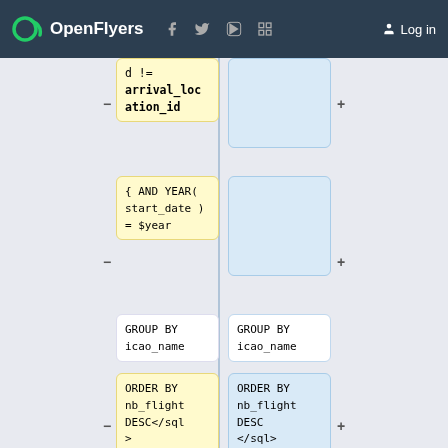OpenFlyers | Log in
[Figure (screenshot): Web interface showing a diff/comparison view of SQL query blocks in two columns. Left column (yellow) shows old query, right column (blue) shows new query. Blocks include: arrival_location_id filter, AND YEAR(start_date) = $year, GROUP BY icao_name, ORDER BY nb_flight DESC</sql>, empty block, ==Pilots who have flown. Right column shows corresponding blue blocks with same content.]